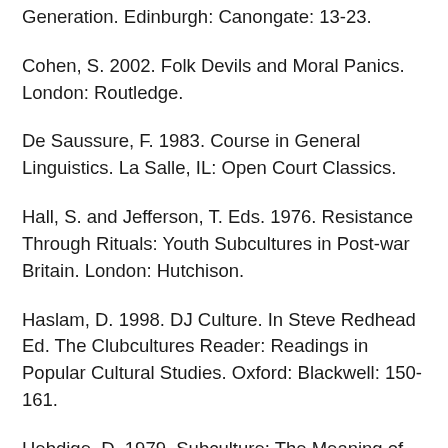Generation. Edinburgh: Canongate: 13-23.
Cohen, S. 2002. Folk Devils and Moral Panics. London: Routledge.
De Saussure, F. 1983. Course in General Linguistics. La Salle, IL: Open Court Classics.
Hall, S. and Jefferson, T. Eds. 1976. Resistance Through Rituals: Youth Subcultures in Post-war Britain. London: Hutchison.
Haslam, D. 1998. DJ Culture. In Steve Redhead Ed. The Clubcultures Reader: Readings in Popular Cultural Studies. Oxford: Blackwell: 150-161.
Hebdige, D. 1979. Subculture: The Meaning of Style. London: Methuen.
Hellman, J. 1981. Fables of Fact: The New Journalism as New